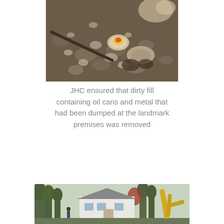[Figure (photo): Close-up photograph of dirty fill soil containing debris including oil cans, metal pieces, rocks and rubble on dark soil/gravel.]
JHC ensured that dirty fill containing oil cans and metal that had been dumped at the landmark premises was removed
[Figure (photo): Outdoor scene showing a house with white siding and trees, with a yellow excavator/construction equipment visible on the right side.]